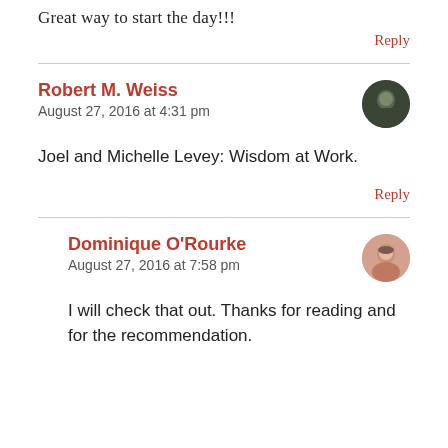Great way to start the day!!!
Reply
Robert M. Weiss
August 27, 2016 at 4:31 pm
Joel and Michelle Levey: Wisdom at Work.
Reply
Dominique O'Rourke
August 27, 2016 at 7:58 pm
I will check that out. Thanks for reading and for the recommendation.